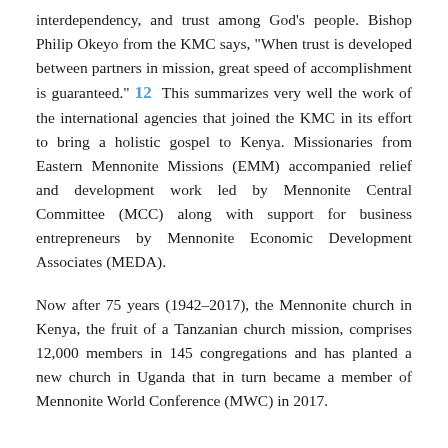interdependency, and trust among God's people. Bishop Philip Okeyo from the KMC says, "When trust is developed between partners in mission, great speed of accomplishment is guaranteed." 12  This summarizes very well the work of the international agencies that joined the KMC in its effort to bring a holistic gospel to Kenya. Missionaries from Eastern Mennonite Missions (EMM) accompanied relief and development work led by Mennonite Central Committee (MCC) along with support for business entrepreneurs by Mennonite Economic Development Associates (MEDA).
Now after 75 years (1942–2017), the Mennonite church in Kenya, the fruit of a Tanzanian church mission, comprises 12,000 members in 145 congregations and has planted a new church in Uganda that in turn became a member of Mennonite World Conference (MWC) in 2017.